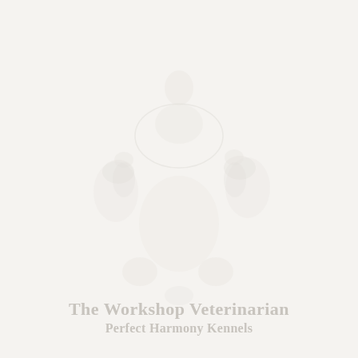[Figure (illustration): Faint watermark or background illustration covering most of the page, showing indistinct shapes in very light gray on a near-white/cream background.]
The Workshop Veterinarian
Perfect Harmony Kennels